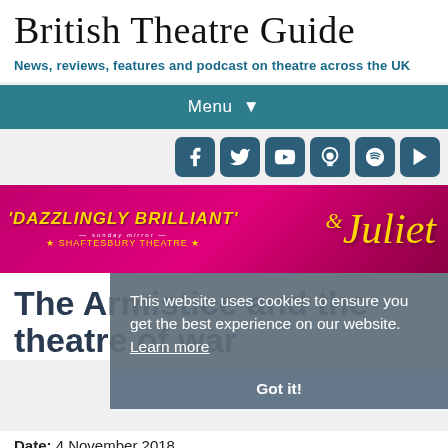British Theatre Guide
News, reviews, features and podcast on theatre across the UK
Menu
[Figure (screenshot): Social media icons row: Facebook, Twitter, YouTube, Podcast, Spotify, Google Play]
[Figure (photo): Advertisement banner: 'DAZZLINGLY BRILLIANT' - Shaftesbury Theatre, & Juliet musical promotional banner with performer image]
This website uses cookies to ensure you get the best experience on our website. Learn more
Got it!
The Armistice and the theatre of war
Date: 4 November 2018